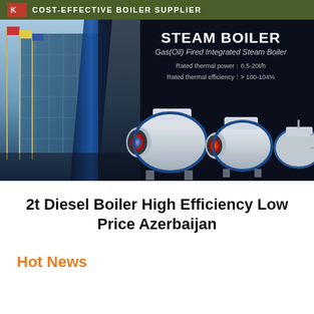COST-EFFECTIVE BOILER SUPPLIER
[Figure (photo): Steam boiler product banner showing Gas(Oil) Fired Integrated Steam Boiler with industrial boiler units on dark background. Rated thermal power: 0.5-20t/h, Rated thermal efficiency: > 100-104%]
2t Diesel Boiler High Efficiency Low Price Azerbaijan
Hot News